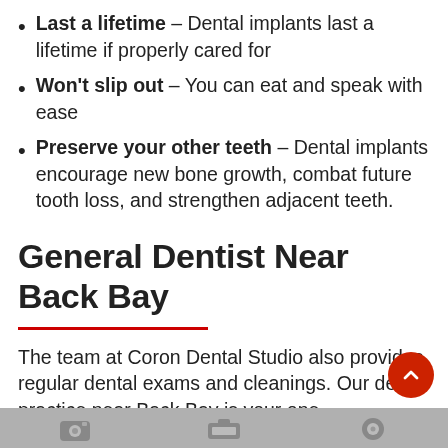Last a lifetime – Dental implants last a lifetime if properly cared for
Won't slip out – You can eat and speak with ease
Preserve your other teeth – Dental implants encourage new bone growth, combat future tooth loss, and strengthen adjacent teeth.
General Dentist Near Back Bay
The team at Coron Dental Studio also provides regular dental exams and cleanings. Our dental practice near Back Bay is your one-